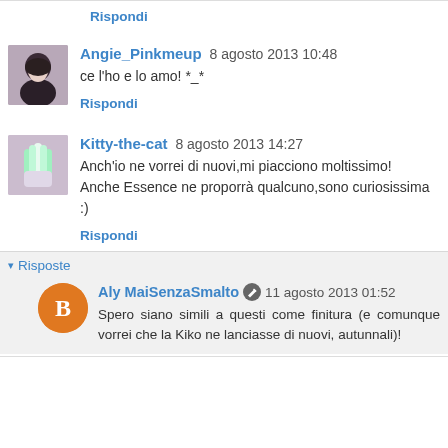Rispondi
Angie_Pinkmeup 8 agosto 2013 10:48
ce l'ho e lo amo! *_*
Rispondi
Kitty-the-cat 8 agosto 2013 14:27
Anch'io ne vorrei di nuovi,mi piacciono moltissimo! Anche Essence ne proporrà qualcuno,sono curiosissima :)
Rispondi
Risposte
Aly MaiSenzaSmalto 11 agosto 2013 01:52
Spero siano simili a questi come finitura (e comunque vorrei che la Kiko ne lanciasse di nuovi, autunnali)!